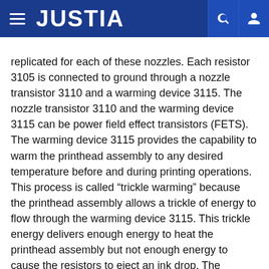JUSTIA
replicated for each of these nozzles. Each resistor 3105 is connected to ground through a nozzle transistor 3110 and a warming device 3115. The nozzle transistor 3110 and the warming device 3115 can be power field effect transistors (FETS). The warming device 3115 provides the capability to warm the printhead assembly to any desired temperature before and during printing operations. This process is called “trickle warming” because the printhead assembly allows a trickle of energy to flow through the warming device 3115. This trickle energy delivers enough energy to heat the printhead assembly but not enough energy to cause the resistors to eject an ink drop. The printhead assembly temperature rises until the desired temperature is reached and the warming device 3115 is then shut off.
In one embodiment, as shown in FIG. 31, the nozzle switch 3110 and the warming device 3115 are connected